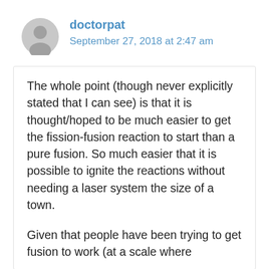doctorpat
September 27, 2018 at 2:47 am
The whole point (though never explicitly stated that I can see) is that it is thought/hoped to be much easier to get the fission-fusion reaction to start than a pure fusion. So much easier that it is possible to ignite the reactions without needing a laser system the size of a town.

Given that people have been trying to get fusion to work (at a scale where